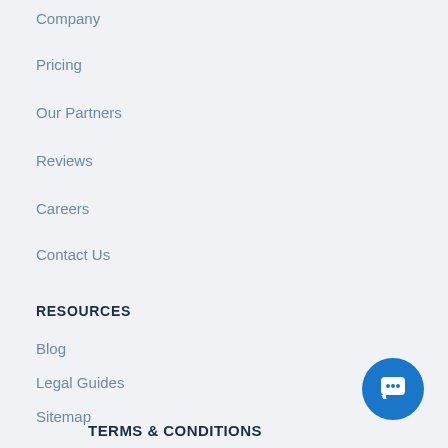Company
Pricing
Our Partners
Reviews
Careers
Contact Us
RESOURCES
Blog
Legal Guides
Sitemap
Partner Offers
System Status
Claim your lawyer profile
TERMS & CONDITIONS